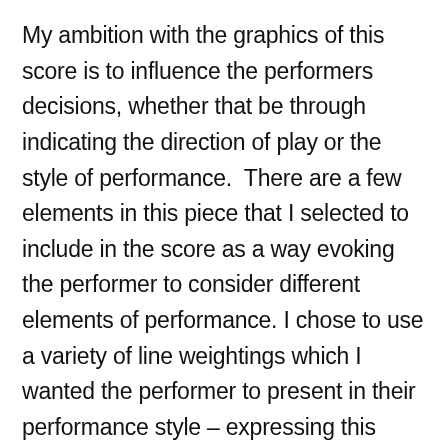My ambition with the graphics of this score is to influence the performers decisions, whether that be through indicating the direction of play or the style of performance.  There are a few elements in this piece that I selected to include in the score as a way evoking the performer to consider different elements of performance. I chose to use a variety of line weightings which I wanted the performer to present in their performance style – expressing this through dynamic ranges and articulations.